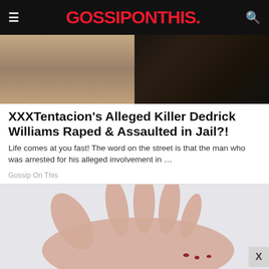GOSSIPONTHIS.
[Figure (photo): Two side-by-side photos: left shows the neck/lower face of a person in a light-colored shirt against a plain background (mugshot style); right shows the lower face and neck of a dark-skinned person wearing a dark jacket with a chain necklace.]
XXXTentacion's Alleged Killer Dedrick Williams Raped & Assaulted in Jail?!
Life comes at you fast! The word on the street is that the man who was arrested for his alleged involvement in …
Gossip On This
[Figure (photo): Advertisement image showing a human hand (palm up, right hand) with red marks/wounds visible on the knuckles area, against a light gray background. A close button 'X' is visible in the lower right corner.]